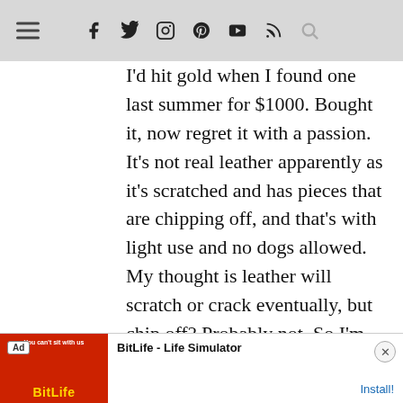Navigation bar with hamburger menu, social icons (Facebook, Twitter, Instagram, Pinterest, YouTube, RSS), and search icon
I'd hit gold when I found one last summer for $1000. Bought it, now regret it with a passion. It's not real leather apparently as it's scratched and has pieces that are chipping off, and that's with light use and no dogs allowed. My thought is leather will scratch or crack eventually, but chip off? Probably not. So I'm back to using a 35+ year old couch I inherited from grandma that is ugly fabric but in the best shape. Just needs new back cushions and a slipcover.
[Figure (screenshot): Ad banner for BitLife - Life Simulator app with red background and install button]